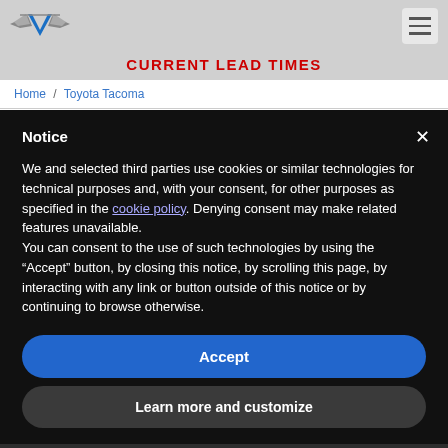[Figure (logo): Winged emblem logo in blue and gray]
CURRENT LEAD TIMES
Home / Toyota Tacoma
Notice
We and selected third parties use cookies or similar technologies for technical purposes and, with your consent, for other purposes as specified in the cookie policy. Denying consent may make related features unavailable.
You can consent to the use of such technologies by using the “Accept” button, by closing this notice, by scrolling this page, by interacting with any link or button outside of this notice or by continuing to browse otherwise.
Accept
Learn more and customize